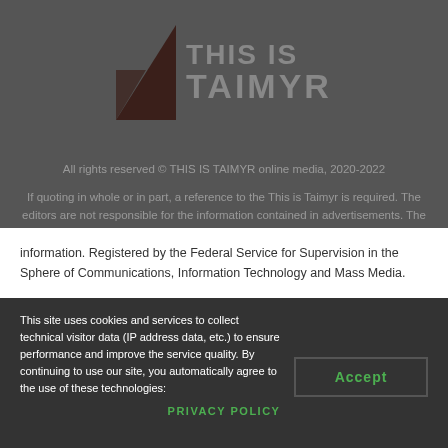[Figure (logo): THIS IS TAIMYR logo with dark brown geometric icon on left and text on right]
All rights reserved © THIS IS TAIMYR online media, 2020-2022
If quoting in whole or in part, a reference to the This is Taimyr is required. The editors are not responsible for the information contained in advertisements. The editors do not provide reference information. Registered by the Federal Service for Supervision in the Sphere of Communications, Information Technology and Mass Media.
This site uses cookies and services to collect technical visitor data (IP address data, etc.) to ensure performance and improve the service quality. By continuing to use our site, you automatically agree to the use of these technologies:
Accept
PRIVACY POLICY